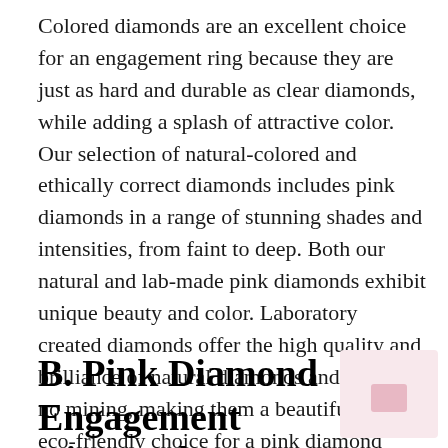Colored diamonds are an excellent choice for an engagement ring because they are just as hard and durable as clear diamonds, while adding a splash of attractive color. Our selection of natural-colored and ethically correct diamonds includes pink diamonds in a range of stunning shades and intensities, from faint to deep. Both our natural and lab-made pink diamonds exhibit unique beauty and color. Laboratory created diamonds offer the high quality and brilliance of natural diamonds and require no mining, making them a beautiful and eco-friendly choice for a pink diamond ring.
B. Pink Diamond Engagement Rings: The